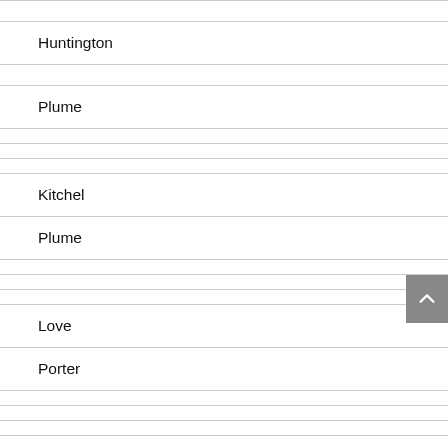|  |
| Huntington |
| Plume |
|  |
|  |
| Kitchel |
| Plume |
|  |
|  |
| Love |
| Porter |
|  |
|  |
| Martin |
|  |